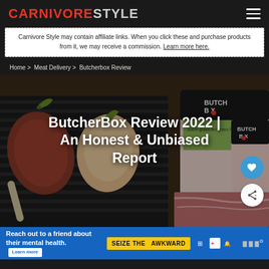CARNIVORESTYLE
Carnivore Style may contain affiliate links. When you click these and purchase products from it, we may receive a commission. Learn more here.
Home > Meat Delivery > Butcherbox Review
[Figure (photo): Raw meat products including steaks and packaged ButcherBox branded ground beef on a dark grill surface with herbs]
ButcherBox Review 2022 | An Honest & Unbiased Report
Reach out to a friend about their mental health. Learn more SEIZE THE AWKWARD